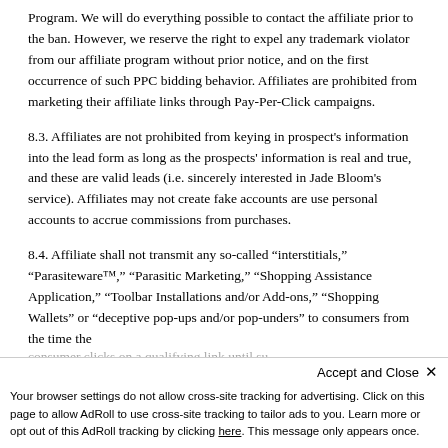Program. We will do everything possible to contact the affiliate prior to the ban. However, we reserve the right to expel any trademark violator from our affiliate program without prior notice, and on the first occurrence of such PPC bidding behavior. Affiliates are prohibited from marketing their affiliate links through Pay-Per-Click campaigns.
8.3. Affiliates are not prohibited from keying in prospect's information into the lead form as long as the prospects' information is real and true, and these are valid leads (i.e. sincerely interested in Jade Bloom's service). Affiliates may not create fake accounts are use personal accounts to accrue commissions from purchases.
8.4. Affiliate shall not transmit any so-called "interstitials," "Parasiteware™," "Parasitic Marketing," "Shopping Assistance Application," "Toolbar Installations and/or Add-ons," "Shopping Wallets" or "deceptive pop-ups and/or pop-unders" to consumers from the time the
consumer clicks on a qualifying link until su...
Accept and Close ✕
Your browser settings do not allow cross-site tracking for advertising. Click on this page to allow AdRoll to use cross-site tracking to tailor ads to you. Learn more or opt out of this AdRoll tracking by clicking here. This message only appears once.